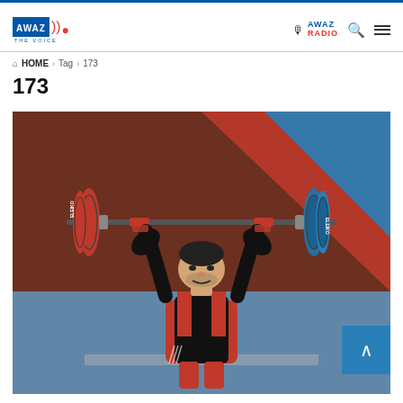AWAZ THE VOICE - AWAZ RADIO
HOME > Tag > 173
173
[Figure (photo): A weightlifter in a black and red outfit lifting a heavy barbell with blue and red ELEIKO weight plates overhead, at a competition with a blue and orange background.]